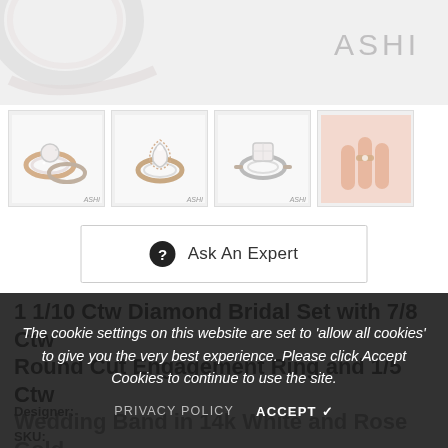[Figure (photo): Top partial area showing cropped ring image and ASHI logo in grey]
[Figure (photo): Four product thumbnail images showing diamond bridal ring set from different angles, including a lifestyle shot of hands]
Ask An Expert
1 1/10 Ctw Diamond Bridal Set with 7/8 Ctw Round Cut Engagement Ring and 1/5 Ctw Wedding Band in 14k White and Rose Gold
Designer:
SKU:
The cookie settings on this website are set to 'allow all cookies' to give you the very best experience. Please click Accept Cookies to continue to use the site.
PRIVACY POLICY   ACCEPT ✓